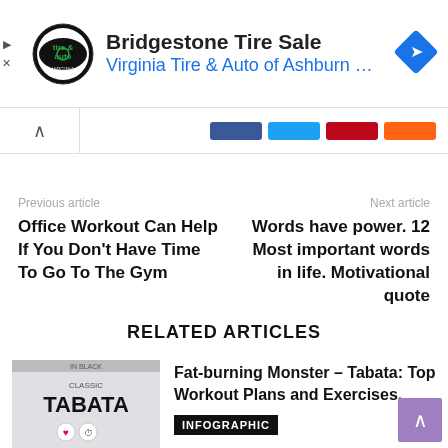[Figure (screenshot): Advertisement banner for Bridgestone Tire Sale - Virginia Tire & Auto of Ashburn with logo and navigation arrow icon]
[Figure (screenshot): Share/social bar with up arrow button and colored social media share pills]
Previous article
Next article
Office Workout Can Help If You Don't Have Time To Go To The Gym
Words have power. 12 Most important words in life. Motivational quote
RELATED ARTICLES
[Figure (photo): Classic Tabata workout thumbnail image with logo and icons]
Fat-burning Monster – Tabata: Top Workout Plans and Exercises.
INFOGRAPHIC